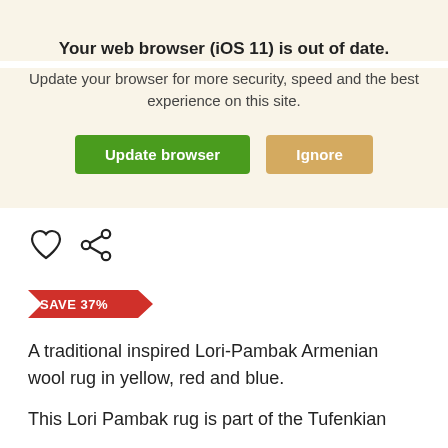Your web browser (iOS 11) is out of date.
Update your browser for more security, speed and the best experience on this site.
Update browser
Ignore
[Figure (illustration): Heart (favorite) icon and share icon]
[Figure (infographic): Red arrow badge with text SAVE 37%]
A traditional inspired Lori-Pambak Armenian wool rug in yellow, red and blue.
This Lori Pambak rug is part of the Tufenkian